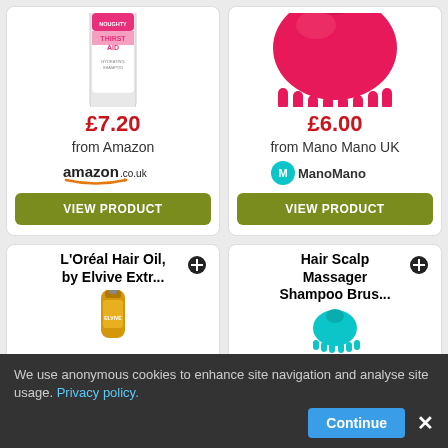[Figure (photo): Noughty Thirst Aid shampoo bottle product image]
£7.20
from Amazon
[Figure (logo): amazon.co.uk logo]
VIEW PRODUCT
[Figure (photo): Pink hair scalp massager brush product image]
£6.00
from Mano Mano UK
[Figure (logo): ManoMano logo]
VIEW PRODUCT
L'Oréal Hair Oil, by Elvive Extr...
[Figure (photo): L'Oreal Elvive hair oil bottle product image (partial)]
Hair Scalp Massager Shampoo Brus...
[Figure (photo): Hair scalp massager shampoo brush product image (partial)]
We use anonymous cookies to enhance site navigation and analyse site usage. Privacy policy.
Continue